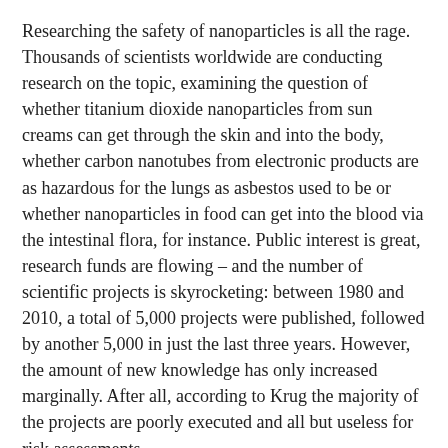Researching the safety of nanoparticles is all the rage. Thousands of scientists worldwide are conducting research on the topic, examining the question of whether titanium dioxide nanoparticles from sun creams can get through the skin and into the body, whether carbon nanotubes from electronic products are as hazardous for the lungs as asbestos used to be or whether nanoparticles in food can get into the blood via the intestinal flora, for instance. Public interest is great, research funds are flowing – and the number of scientific projects is skyrocketing: between 1980 and 2010, a total of 5,000 projects were published, followed by another 5,000 in just the last three years. However, the amount of new knowledge has only increased marginally. After all, according to Krug the majority of the projects are poorly executed and all but useless for risk assessments.
How do nanoparticles get into the body?
Artificial nanoparticles measuring between one and 100 nanometers in size can theoretically enter the body in three ways: through the skin, via the lungs and via the digestive tract. Almost